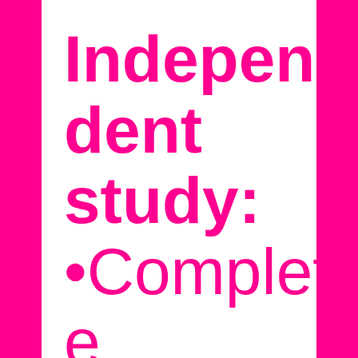Independent study:
•Complete e